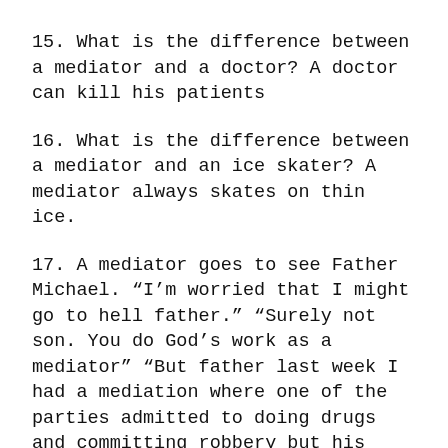15. What is the difference between a mediator and a doctor? A doctor can kill his patients
16. What is the difference between a mediator and an ice skater? A mediator always skates on thin ice.
17. A mediator goes to see Father Michael. “I’m worried that I might go to hell father.” “Surely not son. You do God’s work as a mediator” “But father last week I had a mediation where one of the parties admitted to doing drugs and committing robbery but his victim forgave him and he’s back on the streets.” “Forgiveness is a powerful thing and we can only hope that the criminal takes his chance to mend his ways.” “But yesterday I helped a couple who had been married for 40 years to get a divorce.” “Away with you now. ‘Tis not your responsibility for their divorce although it is